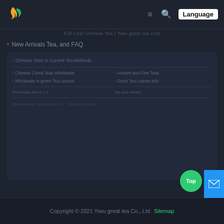[Figure (logo): Yiwu great tea logo - orange and green flame/leaf shape]
≡  🔍  Language
Full Leaf Chinese Tea | Yiwu great tea com
New Arrivals Tea, and FAQ
Chinese 1990 to Current Tea Methods
Chinese Cured Teas Wholesale    Ancient and Fine Teas
Wholesale in green Tea Leaves    Great Tea Leaves Info
Still Available Teas Africa 2.0    Tea and Health
Still Available Teas Africa 2.0    Tea and Health
Copyright © 2021 Yiwu great tea Co., Ltd. Sitemap
Top
[Figure (other): Mail/envelope icon button - blue background]